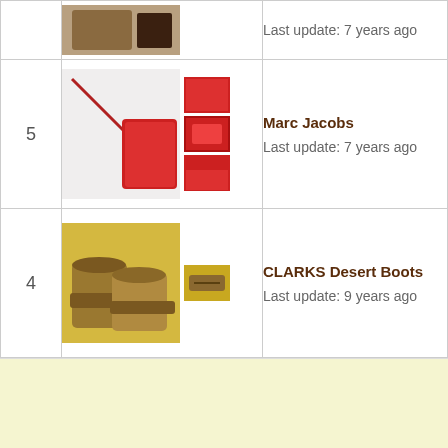| # | Images | Info |
| --- | --- | --- |
|  |  | Last update: 7 years ago |
| 5 | [Marc Jacobs images] | Marc Jacobs
Last update: 7 years ago |
| 4 | [CLARKS Desert Boots images] | CLARKS Desert Boots
Last update: 9 years ago |
[Figure (other): Light yellow/cream colored blank area at bottom of page]